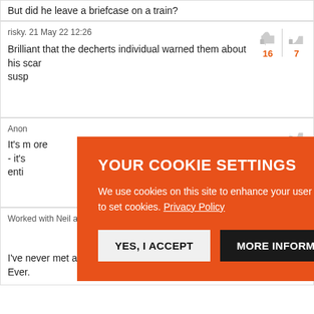But did he leave a briefcase on a train?
risky. 21 May 22 12:26
16
7
Brilliant that the decherts individual warned them about his scar... susp...
Anon... 4
It's m... more - it's... enti...
YOUR COOKIE SETTINGS
We use cookies on this site to enhance your user experience. By clicking any link on this page you are giving your consent for us to set cookies. Privacy Policy
YES, I ACCEPT
MORE INFORMATION
Worked with Neil a while 21 May 22 20:58
27
9
I've never met anyone who has had a good word to say about Neil. Ever.